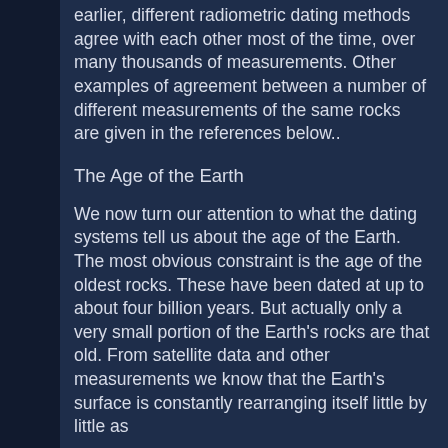earlier, different radiometric dating methods agree with each other most of the time, over many thousands of measurements. Other examples of agreement between a number of different measurements of the same rocks are given in the references below..
The Age of the Earth
We now turn our attention to what the dating systems tell us about the age of the Earth. The most obvious constraint is the age of the oldest rocks. These have been dated at up to about four billion years. But actually only a very small portion of the Earth's rocks are that old. From satellite data and other measurements we know that the Earth's surface is constantly rearranging itself little by little as